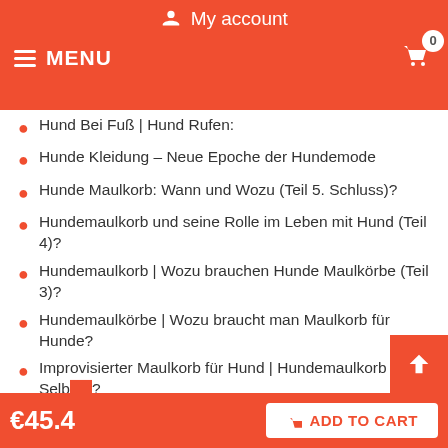My account
MENU
Hund Bei Fuß | Hund Rufen:
Hunde Kleidung – Neue Epoche der Hundemode
Hunde Maulkorb: Wann und Wozu (Teil 5. Schluss)?
Hundemaulkorb und seine Rolle im Leben mit Hund (Teil 4)?
Hundemaulkorb | Wozu brauchen Hunde Maulkörbe (Teil 3)?
Hundemaulkörbe | Wozu braucht man Maulkorb für Hunde?
Improvisierter Maulkorb für Hund | Hundemaulkorb Selb… ?
€45.4  ADD TO CART